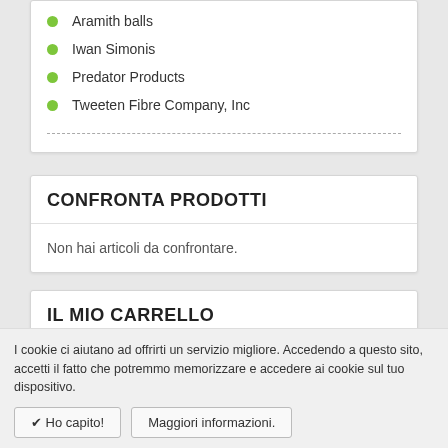Aramith balls
Iwan Simonis
Predator Products
Tweeten Fibre Company, Inc
CONFRONTA PRODOTTI
Non hai articoli da confrontare.
IL MIO CARRELLO
Non hai articoli nel carrello.
I cookie ci aiutano ad offrirti un servizio migliore. Accedendo a questo sito, accetti il fatto che potremmo memorizzare e accedere ai cookie sul tuo dispositivo.
✔ Ho capito!
Maggiori informazioni.